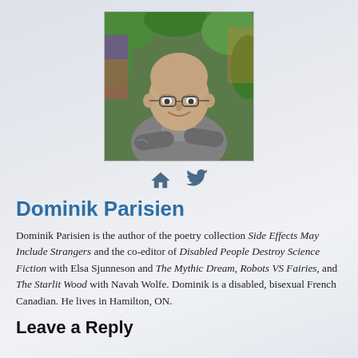[Figure (photo): Headshot photo of Dominik Parisien, a bald man with glasses wearing a grey shirt, smiling with arms crossed, sitting outdoors with colorful foliage in the background.]
[Figure (infographic): Two social media icons: a house/home icon and a Twitter bird icon, both in steel blue color.]
Dominik Parisien
Dominik Parisien is the author of the poetry collection Side Effects May Include Strangers and the co-editor of Disabled People Destroy Science Fiction with Elsa Sjunneson and The Mythic Dream, Robots VS Fairies, and The Starlit Wood with Navah Wolfe. Dominik is a disabled, bisexual French Canadian. He lives in Hamilton, ON.
Leave a Reply